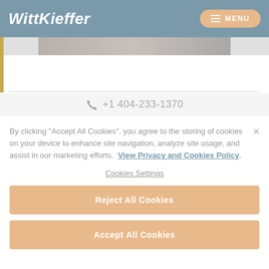WittKieffer | MENU
[Figure (photo): Partial photo strip visible below the header]
+1 404-233-1370
By clicking "Accept All Cookies", you agree to the storing of cookies on your device to enhance site navigation, analyze site usage, and assist in our marketing efforts.  View Privacy and Cookies Policy.
Cookies Settings
Reject All Cookies
Accept All Cookies